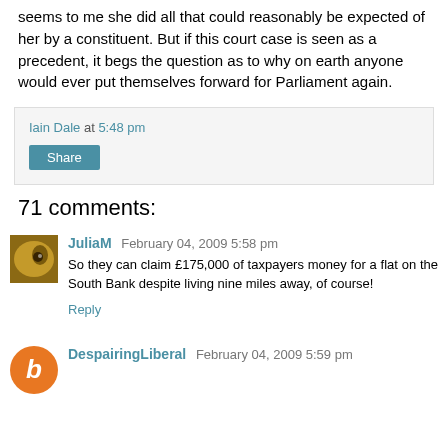seems to me she did all that could reasonably be expected of her by a constituent. But if this court case is seen as a precedent, it begs the question as to why on earth anyone would ever put themselves forward for Parliament again.
Iain Dale at 5:48 pm
Share
71 comments:
JuliaM February 04, 2009 5:58 pm
So they can claim £175,000 of taxpayers money for a flat on the South Bank despite living nine miles away, of course!
Reply
DespairingLiberal February 04, 2009 5:59 pm